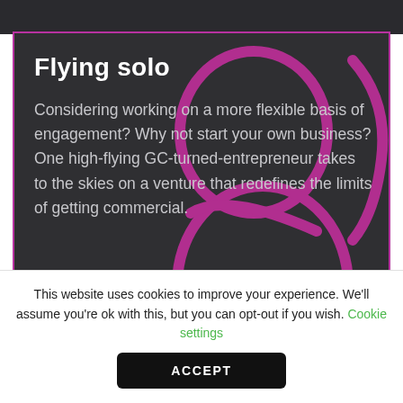[Figure (illustration): Dark card with purple/magenta border containing decorative outlined ampersand and 'GC' letters in pink/magenta stroke style on the right side, overlaid with text about 'Flying solo']
Flying solo
Considering working on a more flexible basis of engagement? Why not start your own business? One high-flying GC-turned-entrepreneur takes to the skies on a venture that redefines the limits of getting commercial.
This website uses cookies to improve your experience. We'll assume you're ok with this, but you can opt-out if you wish. Cookie settings
ACCEPT